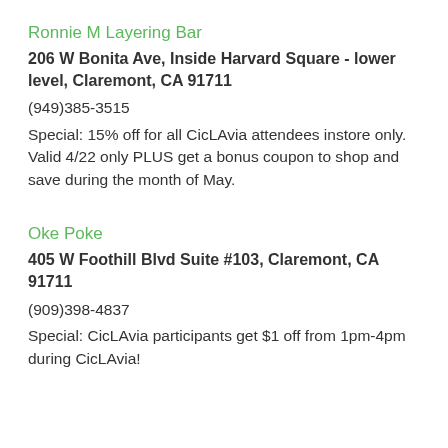Ronnie M Layering Bar
206 W Bonita Ave, Inside Harvard Square - lower level, Claremont, CA 91711
(949)385-3515
Special: 15% off for all CicLAvia attendees instore only. Valid 4/22 only PLUS get a bonus coupon to shop and save during the month of May.
Oke Poke
405 W Foothill Blvd Suite #103, Claremont, CA 91711
(909)398-4837
Special: CicLAvia participants get $1 off from 1pm-4pm during CicLAvia!